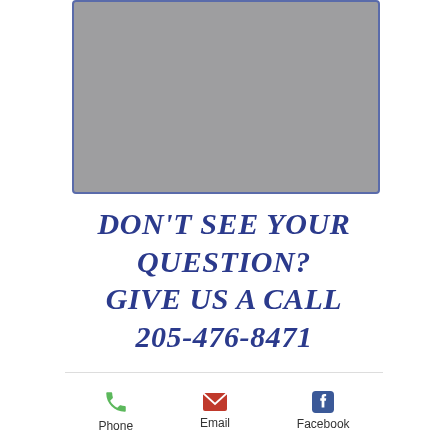[Figure (photo): Placeholder image box with gray fill and blue border at top of page]
DON'T SEE YOUR QUESTION?
GIVE US A CALL
205-476-8471
[Figure (other): Footer bar with Phone, Email, and Facebook contact icons and labels]